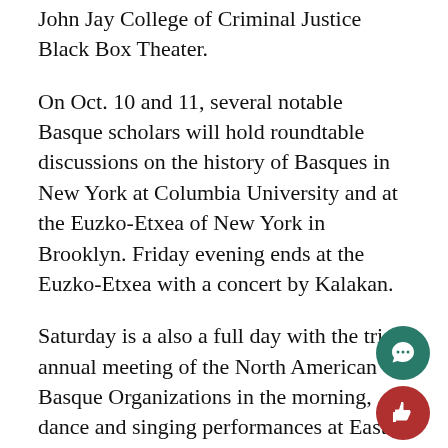John Jay College of Criminal Justice Black Box Theater.
On Oct. 10 and 11, several notable Basque scholars will hold roundtable discussions on the history of Basques in New York at Columbia University and at the Euzko-Etxea of New York in Brooklyn. Friday evening ends at the Euzko-Etxea with a concert by Kalakan.
Saturday is a also a full day with the tri-annual meeting of the North American Basque Organizations in the morning, dance and singing performances at East River State Park in the afternoon, and a prepaid dinner for 75 at the Eusko-Etxea. The president of the Basque government in Spain, Iñigo Urkullu Renteria, will arrive in the afternoon and is expected to attend the park event, said Azurtza.